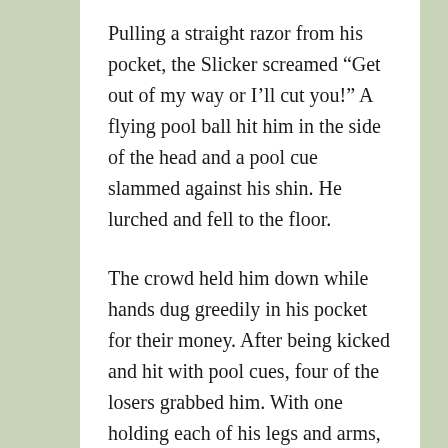Pulling a straight razor from his pocket, the Slicker screamed “Get out of my way or I’ll cut you!” A flying pool ball hit him in the side of the head and a pool cue slammed against his shin. He lurched and fell to the floor.
The crowd held him down while hands dug greedily in his pocket for their money. After being kicked and hit with pool cues, four of the losers grabbed him. With one holding each of his legs and arms, they threw him through the swinging doors of the pool hall and down the